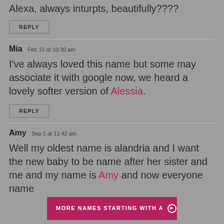Alexa, always inturpts, beautifully????
REPLY
Mia Feb 15 at 10:30 am
I've always loved this name but some may associate it with google now, we heard a lovely softer version of Alessia.
REPLY
Amy Sep 1 at 11:42 am
Well my oldest name is alandria and I want the new baby to be name after her sister and me and my name is Amy and now everyone name
MORE NAMES STARTING WITH A